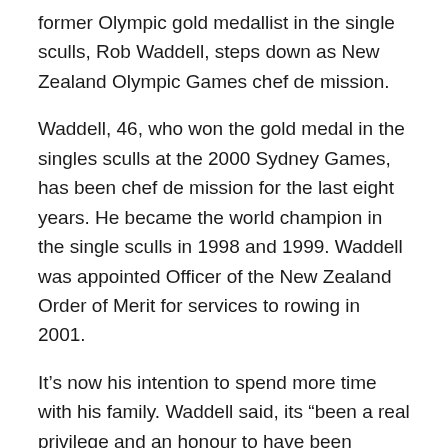former Olympic gold medallist in the single sculls, Rob Waddell, steps down as New Zealand Olympic Games chef de mission.
Waddell, 46, who won the gold medal in the singles sculls at the 2000 Sydney Games, has been chef de mission for the last eight years. He became the world champion in the single sculls in 1998 and 1999. Waddell was appointed Officer of the New Zealand Order of Merit for services to rowing in 2001.
It’s now his intention to spend more time with his family. Waddell said, its “been a real privilege and an honour to have been trusted with leading our Olympic and Commonwealth Games teams,” according to Stuff.
“I’ve particularly enjoyed working with the athletes and